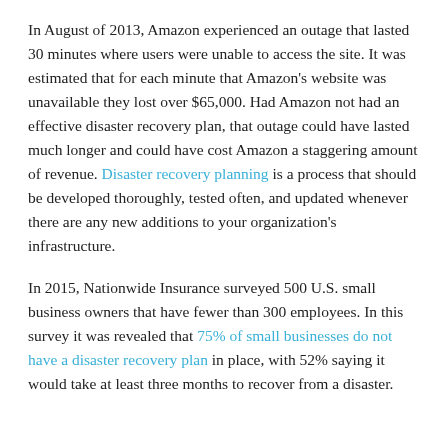In August of 2013, Amazon experienced an outage that lasted 30 minutes where users were unable to access the site. It was estimated that for each minute that Amazon's website was unavailable they lost over $65,000. Had Amazon not had an effective disaster recovery plan, that outage could have lasted much longer and could have cost Amazon a staggering amount of revenue. Disaster recovery planning is a process that should be developed thoroughly, tested often, and updated whenever there are any new additions to your organization's infrastructure.
In 2015, Nationwide Insurance surveyed 500 U.S. small business owners that have fewer than 300 employees. In this survey it was revealed that 75% of small businesses do not have a disaster recovery plan in place, with 52% saying it would take at least three months to recover from a disaster.